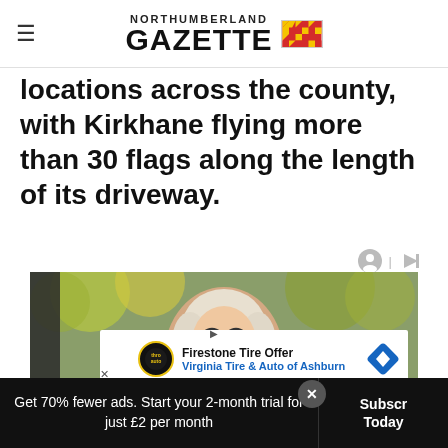NORTHUMBERLAND GAZETTE
locations across the county, with Kirkhane flying more than 30 flags along the length of its driveway.
[Figure (photo): A middle-aged woman with blonde hair and glasses smiling outdoors with trees in the background]
[Figure (other): Advertisement: Firestone Tire Offer - Virginia Tire & Auto of Ashburn]
Get 70% fewer ads. Start your 2-month trial for just £2 per month
Subscribe Today